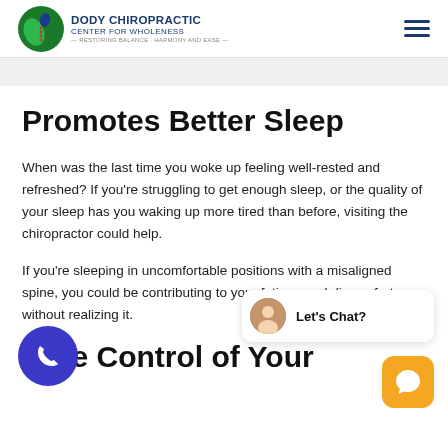Dody Chiropractic Center for Wholeness — Restoring Balance, Harmony and Ease
Promotes Better Sleep
When was the last time you woke up feeling well-rested and refreshed? If you're struggling to get enough sleep, or the quality of your sleep has you waking up more tired than before, visiting the chiropractor could help.
If you're sleeping in uncomfortable positions with a misaligned spine, you could be contributing to your fatigue and discomfort without realizing it.
Take Control of Your